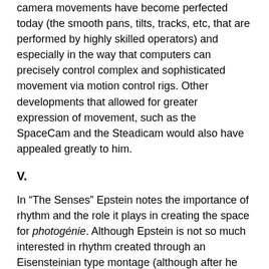camera movements have become perfected today (the smooth pans, tilts, tracks, etc, that are performed by highly skilled operators) and especially in the way that computers can precisely control complex and sophisticated movement via motion control rigs. Other developments that allowed for greater expression of movement, such as the SpaceCam and the Steadicam would also have appealed greatly to him.
V.
In “The Senses” Epstein notes the importance of rhythm and the role it plays in creating the space for photogénie. Although Epstein is not so much interested in rhythm created through an Eisensteinian type montage (although after he has seen Gance’s La Roue (1922), he will be), but of the spontaneous rhythms present in everyday life.
One day, for instance, while the lions, tigers, bears, and antelopes at Regent’s Park Zoo were walking or eating their food at 88 movements a minute, soldiers were walking on lawns at 88 paces a minute, the leopards and pumas were walking at 132, in 3/2 rhythm, do-so, in other words, and children were running at 116, in 3/4 rhythm,